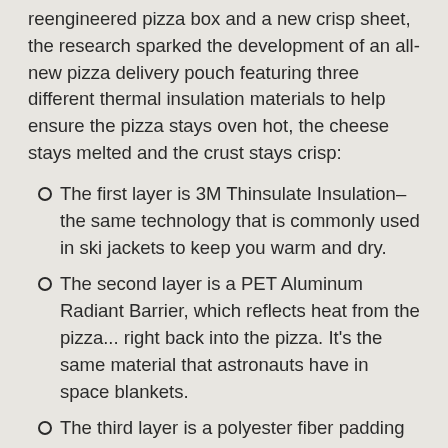reengineered pizza box and a new crisp sheet, the research sparked the development of an all-new pizza delivery pouch featuring three different thermal insulation materials to help ensure the pizza stays oven hot, the cheese stays melted and the crust stays crisp:
The first layer is 3M Thinsulate Insulation–the same technology that is commonly used in ski jackets to keep you warm and dry.
The second layer is a PET Aluminum Radiant Barrier, which reflects heat from the pizza... right back into the pizza. It's the same material that astronauts have in space blankets.
The third layer is a polyester fiber padding that traps heat inside, like the pink insulation found in homes.